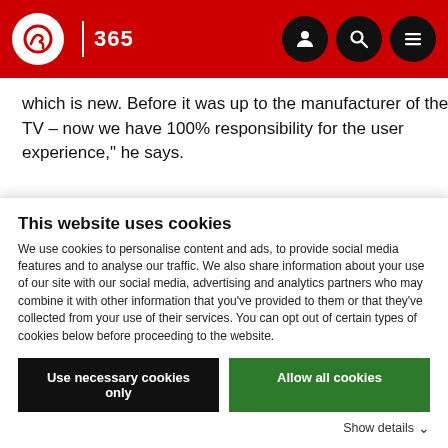IBC 365
which is new. Before it was up to the manufacturer of the TV – now we have 100% responsibility for the user experience," he says.
IBC2017 TV is not Going Anywhere, it's Going Everywhere How premium content - on multiscreen -
This website uses cookies
We use cookies to personalise content and ads, to provide social media features and to analyse our traffic. We also share information about your use of our site with our social media, advertising and analytics partners who may combine it with other information that you've provided to them or that they've collected from your use of their services. You can opt out of certain types of cookies below before proceeding to the website.
Use necessary cookies only
Allow all cookies
Show details